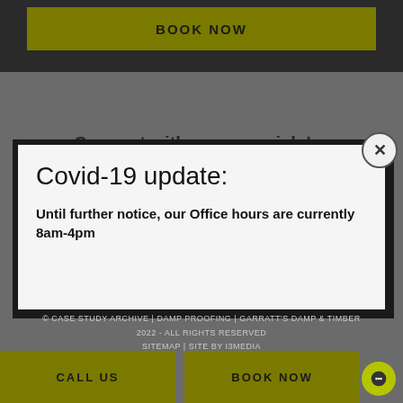BOOK NOW
Connect with us on socials!
Covid-19 update:
Until further notice, our Office hours are currently 8am-4pm
© CASE STUDY ARCHIVE | DAMP PROOFING | GARRATT'S DAMP & TIMBER 2022 - ALL RIGHTS RESERVED
SITEMAP | SITE BY I3MEDIA
CALL US
BOOK NOW